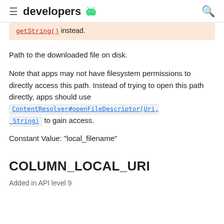developers
getString() instead.
Path to the downloaded file on disk.
Note that apps may not have filesystem permissions to directly access this path. Instead of trying to open this path directly, apps should use ContentResolver#openFileDescriptor(Uri, String) to gain access.
Constant Value: "local_filename"
COLUMN_LOCAL_URI
Added in API level 9